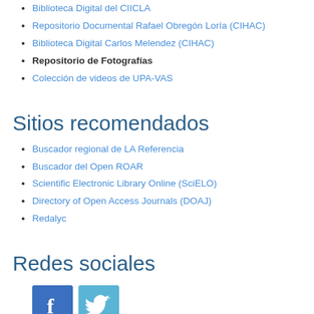Biblioteca Digital del CIICLA
Repositorio Documental Rafael Obregón Loría (CIHAC)
Biblioteca Digital Carlos Melendez (CIHAC)
Repositorio de Fotografías
Colección de videos de UPA-VAS
Sitios recomendados
Buscador regional de LA Referencia
Buscador del Open ROAR
Scientific Electronic Library Online (SciELO)
Directory of Open Access Journals (DOAJ)
Redalyc
Redes sociales
[Figure (logo): Facebook and Twitter social media icons]